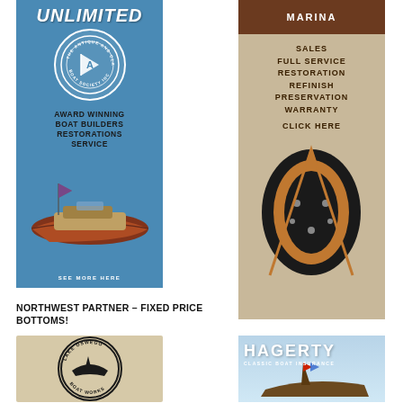[Figure (advertisement): Antique and Classic Boat Society ad: UNLIMITED text at top, ACBS circular logo, AWARD WINNING BOAT BUILDERS RESTORATIONS SERVICE text, classic wooden speedboat photo, SEE MORE HERE at bottom, blue background]
[Figure (advertisement): Marina ad: Marina logo at top dark brown banner, SALES FULL SERVICE RESTORATION REFINISH PRESERVATION WARRANTY text, CLICK HERE, classic wooden boat bow photo, tan/beige background]
NORTHWEST PARTNER – FIXED PRICE BOTTOMS!
[Figure (advertisement): Lake Oswego ad: circular logo with LAKE OSWEGO text and boat silhouette, beige/tan background]
[Figure (advertisement): Hagerty Classic Boat Insurance ad: HAGERTY text large white, CLASSIC BOAT INSURANCE subtext, blue sky background with classic wooden boat]